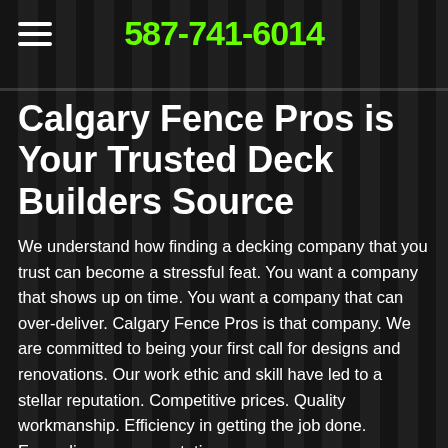587-741-6014
Calgary Fence Pros is Your Trusted Deck Builders Source
We understand how finding a decking company that you trust can become a stressful feat. You want a company that shows up on time. You want a company that can over-deliver. Calgary Fence Pros is that company. We are committed to being your first call for designs and renovations. Our work ethic and skill have led to a stellar reputation. Competitive prices. Quality workmanship. Efficiency in getting the job done. Exceeding your expectations.
Calgary Decks Create the Perfect Living Space